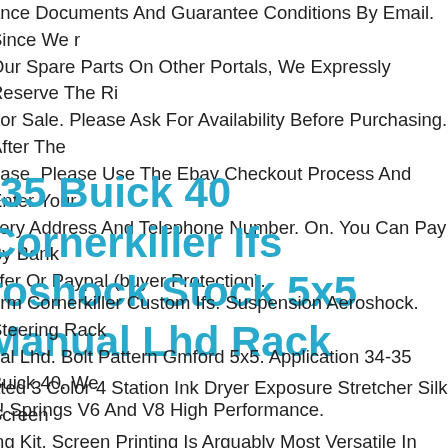ance Documents And Guarantee Conditions By Email. Since We r Our Spare Parts On Other Portals, We Expressly Reserve The Ri rior Sale. Please Ask For Availability Before Purchasing. After The hase, Please Use The Ebay Checkout Process And Enter Your very Address And Telephone Number. On. You Can Pay By Bank sfer Or Paypal (buyer Protection).
-35 Buick 40 Cornerkiller Ifs roshock Stock 5x5 Manual Lhd Rack
orm Cornerkiller Custom Ifs. Suspension Aeroshock. Steering Rack ual Lhd. Bolt Pattern Gmford 5x5. Application 34-35 Buick 40. We s! Springs V6 And V8 High Performance.
ated 3 Color 4 Station Ink Dryer Exposure Stretcher Silk Screen ing Kit. Screen Printing Is Arguably Most Versatile In Printing, Alm ything Can Be Used As Substrate. 1600w Flash Dryer. Height stable Range Of The Dryer Head 5.5"14cm. Dryer Power 1600w